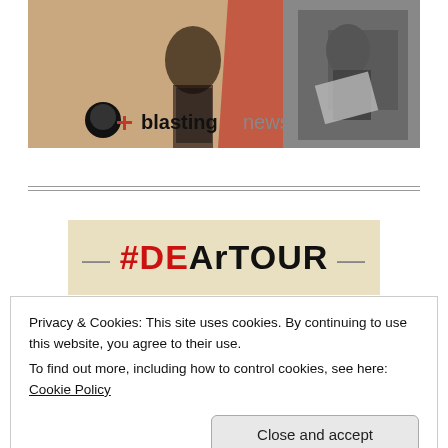[Figure (photo): Banner image showing a news article photo collage with a woman in a blazer and the Blasting News logo with a plus sign, alongside a black-and-white photo of someone reading papers.]
[Figure (other): #DEArTOUR logo on a beige/tan background with decorative dashes on either side.]
Privacy & Cookies: This site uses cookies. By continuing to use this website, you agree to their use.
To find out more, including how to control cookies, see here: Cookie Policy
Close and accept